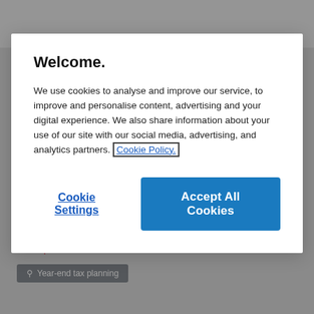[Figure (screenshot): Tolley website header bar with logo, navigation icons, and buttons]
Welcome.
We use cookies to analyse and improve our service, to improve and personalise content, advertising and your digital experience. We also share information about your use of our site with our social media, advertising, and analytics partners. Cookie Policy.
Cookie Settings
Accept All Cookies
Produced by Tolley
Last updated on 14 Jul 2020 13:56
Year-end tax planning